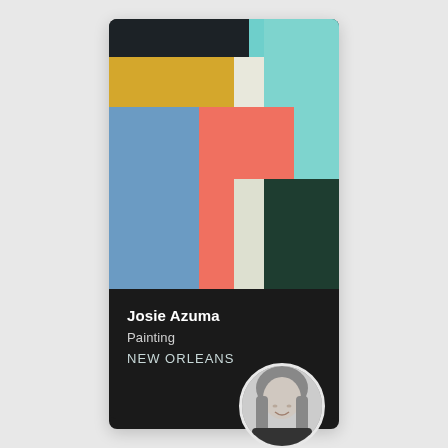[Figure (illustration): Abstract geometric painting with color blocks: dark charcoal/black top band, teal/mint top-right, golden yellow horizontal band, blue rectangle left, salmon/coral pink vertical rectangle center, off-white/cream vertical band, dark forest green bottom-right area.]
Josie Azuma
Painting
NEW ORLEANS
[Figure (photo): Black and white circular profile photo of a young woman with long blonde hair, smiling, wearing a dark top.]